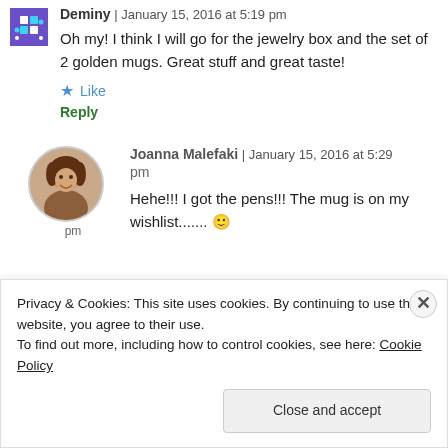Deminy | January 15, 2016 at 5:19 pm
Oh my! I think I will go for the jewelry box and the set of 2 golden mugs. Great stuff and great taste!
Like
Reply
Joanna Malefaki | January 15, 2016 at 5:29 pm
Hehe!!! I got the pens!!! The mug is on my wishlist....... 🙂
Privacy & Cookies: This site uses cookies. By continuing to use this website, you agree to their use.
To find out more, including how to control cookies, see here: Cookie Policy
Close and accept